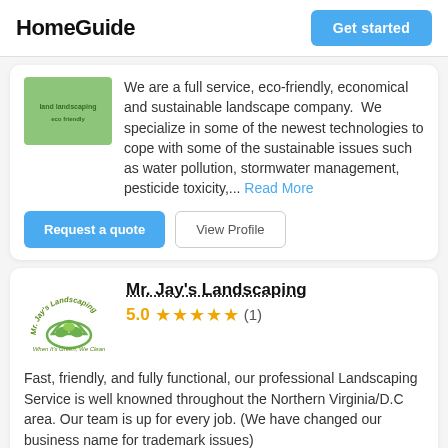HomeGuide  Get started
We are a full service, eco-friendly, economical and sustainable landscape company.  We specialize in some of the newest technologies to cope with some of the sustainable issues such as water pollution, stormwater management, pesticide toxicity,... Read More
Request a quote  View Profile
Mr. Jay's Landscaping
5.0 ★★★★★ (1)
Fast, friendly, and fully functional, our professional Landscaping Service is well knowned throughout the Northern Virginia/D.C area. Our team is up for every job. (We have changed our business name for trademark issues)